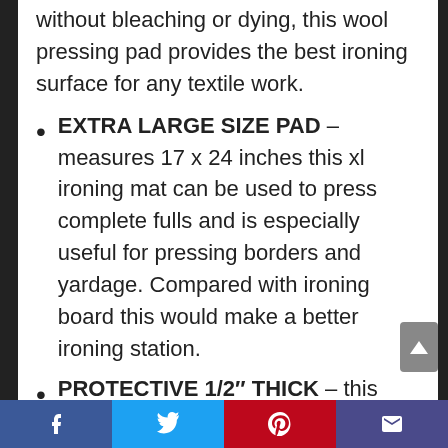without bleaching or dying, this wool pressing pad provides the best ironing surface for any textile work.
EXTRA LARGE SIZE PAD – measures 17 x 24 inches this xl ironing mat can be used to press complete fulls and is especially useful for pressing borders and yardage. Compared with ironing board this would make a better ironing station.
PROTECTIVE 1/2″ THICK – this magic pressing mat is 1/2 inch thick so you don't have any worries about the heat getting through the
Facebook | Twitter | Pinterest | Email